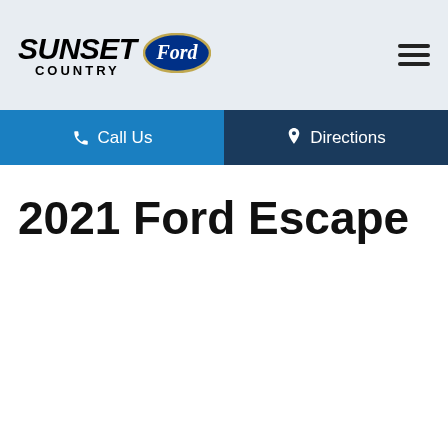Sunset Country Ford
Call Us
Directions
2021 Ford Escape